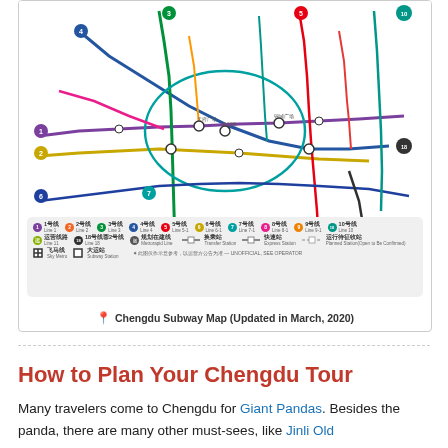[Figure (map): Chengdu Subway Map (Updated in March, 2020) — a colorful metro/subway network map showing multiple numbered lines in different colors (purple, orange, green, blue, yellow, teal, red, pink, etc.) with Chinese station names, interconnections, and a legend at the bottom showing line numbers 1-10 and additional lines, plus symbols for transfer stations, airports, and other features.]
Chengdu Subway Map (Updated in March, 2020)
How to Plan Your Chengdu Tour
Many travelers come to Chengdu for Giant Pandas. Besides the panda, there are many other must-sees, like Jinli Old